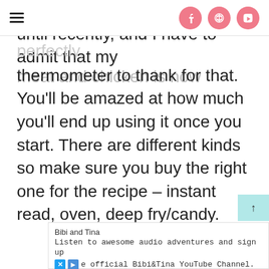I never used thermometers until recently, and I have to admit that my meat and chicken is now cooked to
≡  [Facebook] [Pinterest] [TikTok]
thermometer to thank for that. You'll be amazed at how much you'll end up using it once you start. There are different kinds so make sure you buy the right one for the recipe – instant read, oven, deep fry/candy.
↑
Bibi and Tina
Listen to awesome audio adventures and sign up
e official Bibi&Tina YouTube Channel.